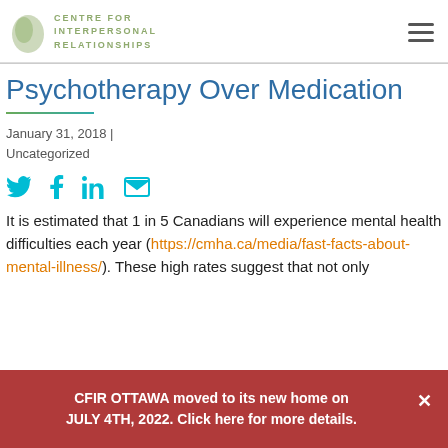[Figure (logo): Centre for Interpersonal Relationships logo with green oval and text, plus hamburger menu icon]
Psychotherapy Over Medication
January 31, 2018 | Uncategorized
[Figure (infographic): Social share icons: Twitter, Facebook, LinkedIn, Email]
It is estimated that 1 in 5 Canadians will experience mental health difficulties each year (https://cmha.ca/media/fast-facts-about-mental-illness/). These high rates suggest that not only
CFIR OTTAWA moved to its new home on JULY 4TH, 2022. Click here for more details.